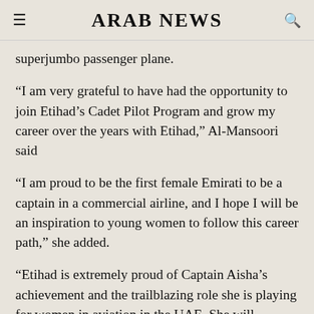ARAB NEWS
superjumbo passenger plane.
“I am very grateful to have had the opportunity to join Etihad’s Cadet Pilot Program and grow my career over the years with Etihad,” Al-Mansoori said
“I am proud to be the first female Emirati to be a captain in a commercial airline, and I hope I will be an inspiration to young women to follow this career path,” she added.
“Etihad is extremely proud of Captain Aisha’s achievement and the trailblazing role she is playing for women in aviation in the UAE. She will